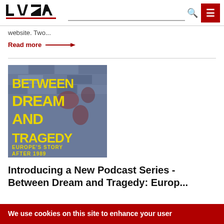LVZA [logo] [search] [menu]
website. Two...
Read more →
[Figure (illustration): Book or podcast cover image with yellow bold text on blue brick background reading: BETWEEN DREAM AND TRAGEDY EUROPE'S STORY AFTER 1989]
Introducing a New Podcast Series - Between Dream and Tragedy: Europe's Story...
We use cookies on this site to enhance your user